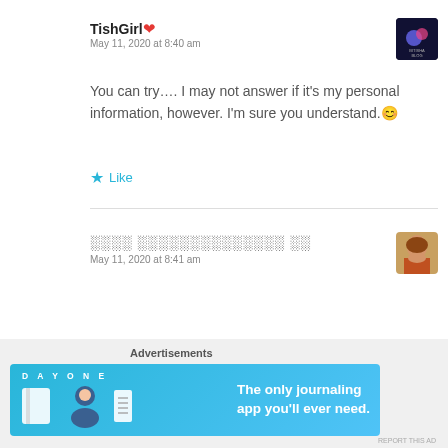TishGirl❤
May 11, 2020 at 8:40 am
[Figure (logo): Blog avatar with blue/purple gradient and text 'BITISHA BLOG' on dark background]
You can try…. I may not answer if it's my personal information, however. I'm sure you understand.😊
★ Like
░░░░ ░░░░░░░░░░░░░░ ░░
May 11, 2020 at 8:41 am
[Figure (photo): Small avatar photo of a person in traditional attire]
Advertisements
[Figure (infographic): Day One journaling app advertisement banner: 'The only journaling app you'll ever need.']